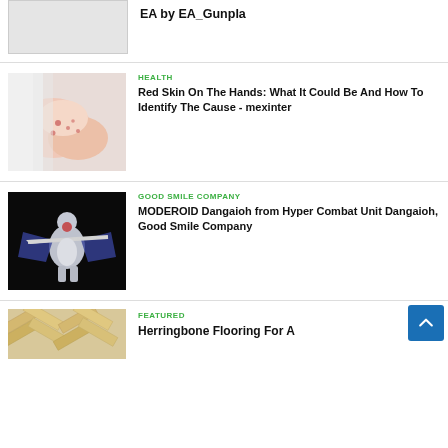[Figure (photo): Partial top image (light gray box, clipped)]
EA by EA_Gunpla
[Figure (photo): Person scratching red irritated skin on hands/arm]
HEALTH
Red Skin On The Hands: What It Could Be And How To Identify The Cause - mexinter
[Figure (photo): White and blue mecha robot figure with sword against black background]
GOOD SMILE COMPANY
MODEROID Dangaioh from Hyper Combat Unit Dangaioh, Good Smile Company
[Figure (photo): Herringbone wood flooring pattern, partial view]
FEATURED
Herringbone Flooring For A